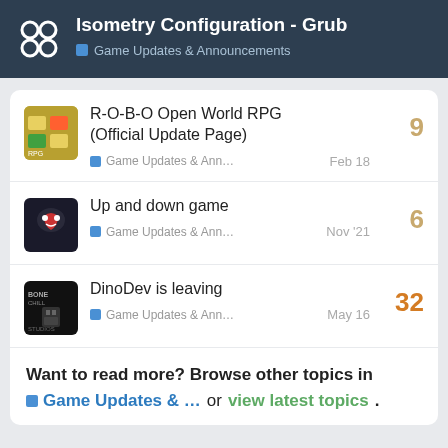Isometry Configuration - Grub | Game Updates & Announcements
R-O-B-O Open World RPG (Official Update Page) | Game Updates & Ann... | Feb 18 | 9 replies
Up and down game | Game Updates & Ann... | Nov '21 | 6 replies
DinoDev is leaving | Game Updates & Ann... | May 16 | 32 replies
Want to read more? Browse other topics in Game Updates & ...  or view latest topics.